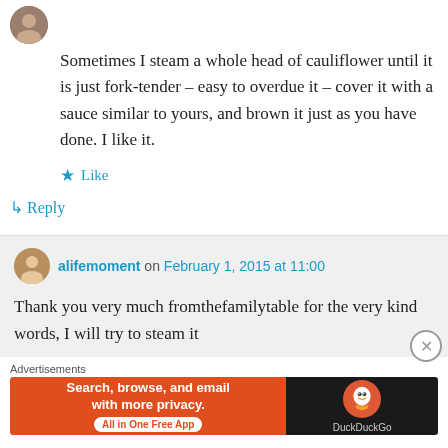[Figure (photo): User avatar circle image at top left]
Sometimes I steam a whole head of cauliflower until it is just fork-tender – easy to overdue it – cover it with a sauce similar to yours, and brown it just as you have done. I like it.
★ Like
↳ Reply
alifemoment on February 1, 2015 at 11:00
Thank you very much fromthefamilytable for the very kind words, I will try to steam it
Advertisements
[Figure (screenshot): DuckDuckGo advertisement banner: Search, browse, and email with more privacy. All in One Free App. DuckDuckGo logo on dark background.]